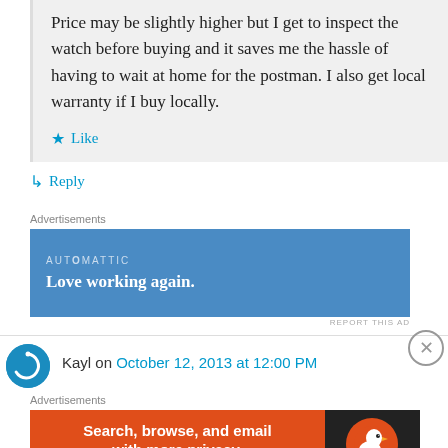Price may be slightly higher but I get to inspect the watch before buying and it saves me the hassle of having to wait at home for the postman. I also get local warranty if I buy locally.
★ Like
↳ Reply
Advertisements
[Figure (screenshot): Blue advertisement banner for Automattic with text 'AUTOMATTIC' and 'Love working again.']
REPORT THIS AD
Kayl on October 12, 2013 at 12:00 PM
Advertisements
[Figure (screenshot): DuckDuckGo advertisement: orange/red left panel with 'Search, browse, and email with more privacy. All in One Free App' and dark right panel with DuckDuckGo logo]